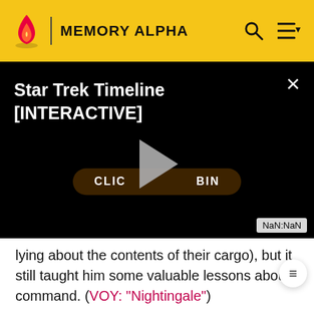MEMORY ALPHA
[Figure (screenshot): Embedded video player with black background showing title 'Star Trek Timeline [INTERACTIVE]', a play button overlay, a 'CLICK TO BEGIN' button, a close (×) button, and a NaN:NaN timestamp badge]
lying about the contents of their cargo), but it still taught him some valuable lessons about command. (VOY: "Nightingale")
The Delta Flyer was used by Chakotay, Tuvok, and Paris to pursue a vessel crewed by Hirogen-created holograms